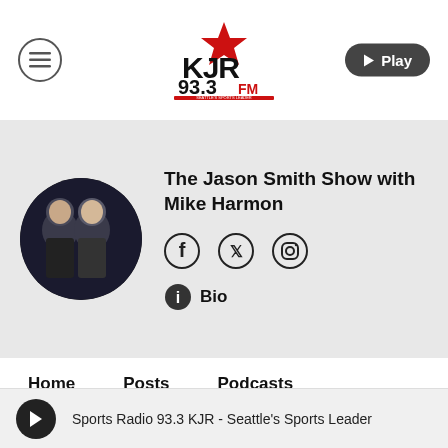[Figure (logo): KJR 93.3 FM Seattle's Sports Leader radio station logo with red devil/star graphic]
The Jason Smith Show with Mike Harmon
[Figure (photo): Circular photo of two men (Jason Smith and Mike Harmon) in suits against a dark background]
Facebook icon
Twitter icon
Instagram icon
Bio
Home
Posts
Podcasts
Sports Radio 93.3 KJR - Seattle's Sports Leader